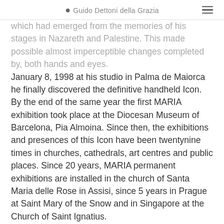Guido Dettoni della Grazia
which had emerged from the memories of his stages in Nazareth and Palestine. This made possible almost imperceptible changes completed by, both hands and eyes.
January 8, 1998 at his studio in Palma de Maiorca he finally discovered the definitive handheld Icon.
By the end of the same year the first MARIA exhibition took place at the Diocesan Museum of Barcelona, Pia Almoina. Since then, the exhibitions and presences of this Icon have been twentynine times in churches, cathedrals, art centres and public places. Since 20 years, MARIA permanent exhibitions are installed in the church of Santa Maria delle Rose in Assisi, since 5 years in Prague at Saint Mary of the Snow and in Singapore at the Church of Saint Ignatius.